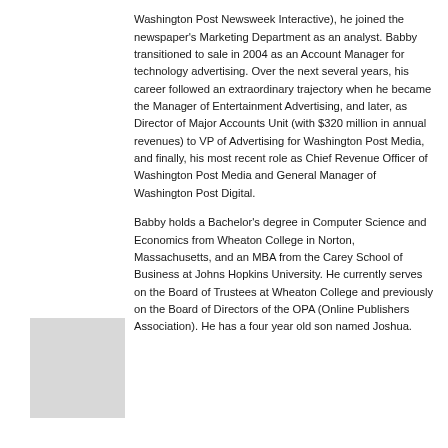Washington Post Newsweek Interactive), he joined the newspaper's Marketing Department as an analyst. Babby transitioned to sale in 2004 as an Account Manager for technology advertising. Over the next several years, his career followed an extraordinary trajectory when he became the Manager of Entertainment Advertising, and later, as Director of Major Accounts Unit (with $320 million in annual revenues) to VP of Advertising for Washington Post Media, and finally, his most recent role as Chief Revenue Officer of Washington Post Media and General Manager of Washington Post Digital.
Babby holds a Bachelor's degree in Computer Science and Economics from Wheaton College in Norton, Massachusetts, and an MBA from the Carey School of Business at Johns Hopkins University. He currently serves on the Board of Trustees at Wheaton College and previously on the Board of Directors of the OPA (Online Publishers Association). He has a four year old son named Joshua.
[Figure (photo): A light gray placeholder rectangle representing a headshot photo.]